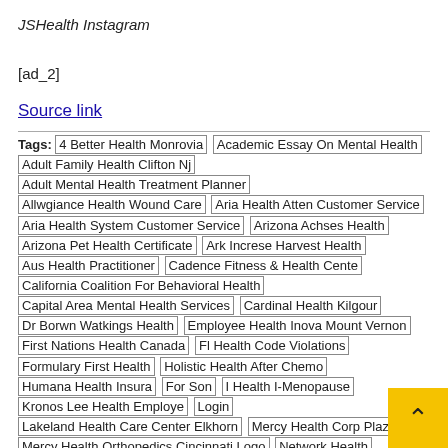JSHealth Instagram
[ad_2]
Source link
Tags: 4 Better Health Monrovia | Academic Essay On Mental Health | Adult Family Health Clifton Nj | Adult Mental Health Treatment Planner | Allwgiance Health Wound Care | Aria Health Atten Customer Service | Aria Health System Customer Service | Arizona Achses Health | Arizona Pet Health Certificate | Ark Increse Harvest Health | Aus Health Practitioner | Cadence Fitness & Health Cente | California Coalition For Behavioral Health | Capital Area Mental Health Services | Cardinal Health Kilgour | Dr Borwn Watkings Health | Employee Health Inova Mount Vernon | First Nations Health Canada | Fl Health Code Violations | Formulary First Health | Holistic Health After Chemo | Humana Health Insurance For Son | I Health I-Menopause | Kronos Lee Health Employee Login | Lakeland Health Care Center Elkhorn | Mercy Health Corp Plaza | Mercy Health Orthopedics Cincinnati Logo | Network Health